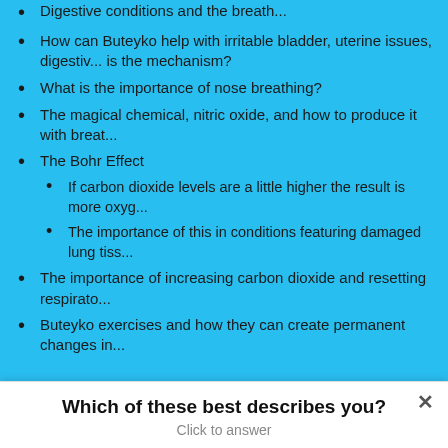How can Buteyko help with irritable bladder, uterine issues, digestive conditions and the breath... is the mechanism?
What is the importance of nose breathing?
The magical chemical, nitric oxide, and how to produce it with breath...
The Bohr Effect
If carbon dioxide levels are a little higher the result is more oxyg...
The importance of this in conditions featuring damaged lung tiss...
The importance of increasing carbon dioxide and resetting respirato...
Buteyko exercises and how they can create permanent changes in...
Age appropriate and condition appropriate Buteyko breathing exerc...
What improvements and symptomatic relief has Mim seen with Bute...
Nitric oxide improving functioning of sphincters and how this affe...
What are common signs of dysfunctional breathing?
Tactics to retrain mouth breathing during sleep and the outcomes of...
Nose breathing at night and how this positively and profoundly affe...
Which of these best describes you?
Click to answer